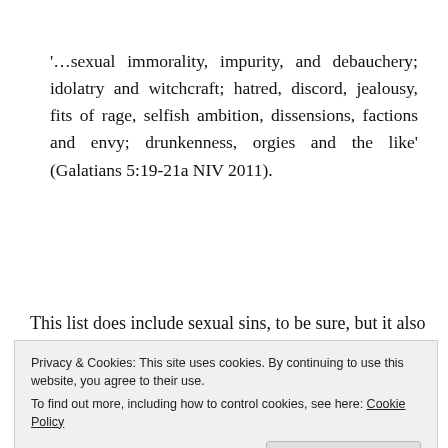'…sexual immorality, impurity, and debauchery; idolatry and witchcraft; hatred, discord, jealousy, fits of rage, selfish ambition, dissensions, factions and envy; drunkenness, orgies and the like' (Galatians 5:19-21a NIV 2011).
This list does include sexual sins, to be sure, but it also includes hatred and ambition, anger and jealousy, hatred
Privacy & Cookies: This site uses cookies. By continuing to use this website, you agree to their use. To find out more, including how to control cookies, see here: Cookie Policy
But that's not the end of the story. Paul goes on to say,